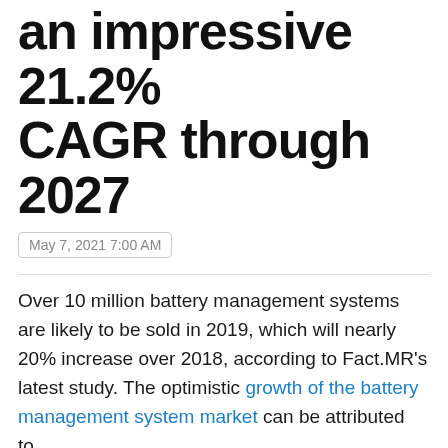an impressive 21.2% CAGR through 2027
May 7, 2021 7:00 AM
Over 10 million battery management systems are likely to be sold in 2019, which will nearly 20% increase over 2018, according to Fact.MR's latest study. The optimistic growth of the battery management system market can be attributed to,
Electrification of the automotive industry that heavily relies on batteries